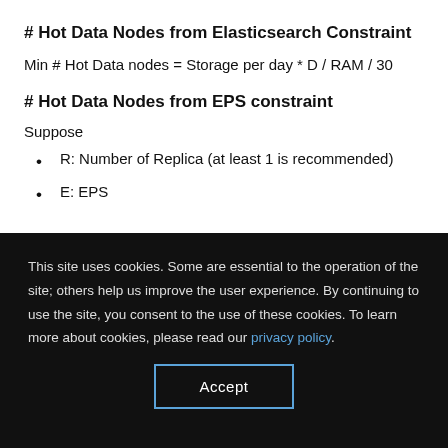# Hot Data Nodes from Elasticsearch Constraint
# Hot Data Nodes from EPS constraint
Suppose
R: Number of Replica (at least 1 is recommended)
E: EPS
This site uses cookies. Some are essential to the operation of the site; others help us improve the user experience. By continuing to use the site, you consent to the use of these cookies. To learn more about cookies, please read our privacy policy.
Accept